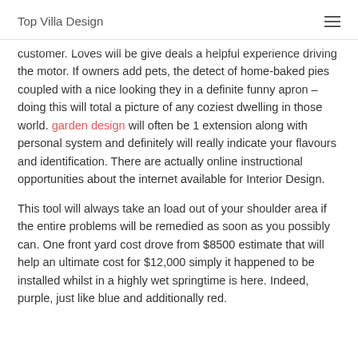Top Villa Design
customer. Loves will be give deals a helpful experience driving the motor. If owners add pets, the detect of home-baked pies coupled with a nice looking they in a definite funny apron – doing this will total a picture of any coziest dwelling in those world. garden design will often be 1 extension along with personal system and definitely will really indicate your flavours and identification. There are actually online instructional opportunities about the internet available for Interior Design.
This tool will always take an load out of your shoulder area if the entire problems will be remedied as soon as you possibly can. One front yard cost drove from $8500 estimate that will help an ultimate cost for $12,000 simply it happened to be installed whilst in a highly wet springtime is here. Indeed, purple, just like blue and additionally red.